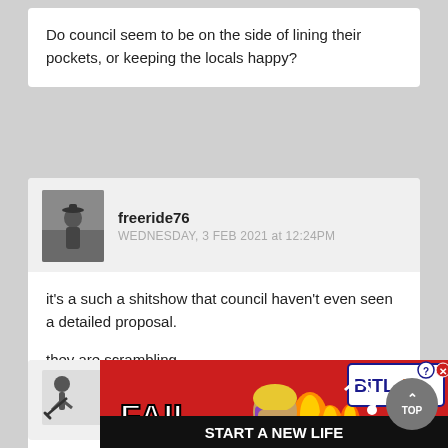Do council seem to be on the side of lining their pockets, or keeping the locals happy?
freeride76
WEDNESDAY, 3 FEB 2021 at 12:24PM
it's a such a shitshow that council haven't even seen a detailed proposal.
they are scrambling.
will know more after extraordinary council meeting today.
stunet
[Figure (screenshot): Advertisement banner showing BitLife game ad with 'FAIL', fire and character graphics, 'START A NEW LIFE' text, and close/info buttons]